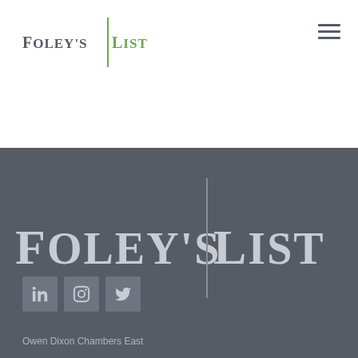[Figure (logo): Foley's List logo in header — 'FOLEY'S' in dark grey serif and 'LIST' in green serif separated by a green vertical bar]
[Figure (logo): Hamburger menu icon (three horizontal lines) in top right]
[Figure (logo): Large Foley's List logo centered on dark grey background — 'FOLEY'S' and 'LIST' in light grey serif with vertical divider bar]
[Figure (infographic): Three social media icon buttons: LinkedIn, Instagram, Twitter on dark grey background]
Owen Dixon Chambers East